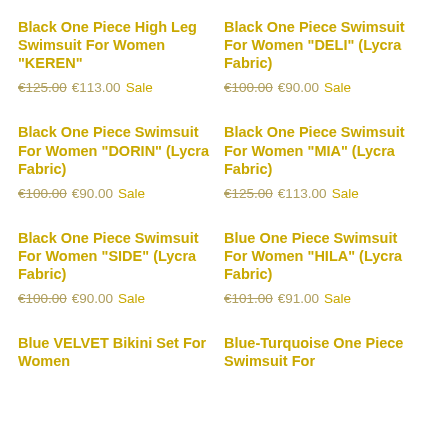Black One Piece High Leg Swimsuit For Women "KEREN"
€125.00 €113.00 Sale
Black One Piece Swimsuit For Women "DELI" (Lycra Fabric)
€100.00 €90.00 Sale
Black One Piece Swimsuit For Women "DORIN" (Lycra Fabric)
€100.00 €90.00 Sale
Black One Piece Swimsuit For Women "MIA" (Lycra Fabric)
€125.00 €113.00 Sale
Black One Piece Swimsuit For Women "SIDE" (Lycra Fabric)
€100.00 €90.00 Sale
Blue One Piece Swimsuit For Women "HILA" (Lycra Fabric)
€101.00 €91.00 Sale
Blue VELVET Bikini Set For Women
Blue-Turquoise One Piece Swimsuit For